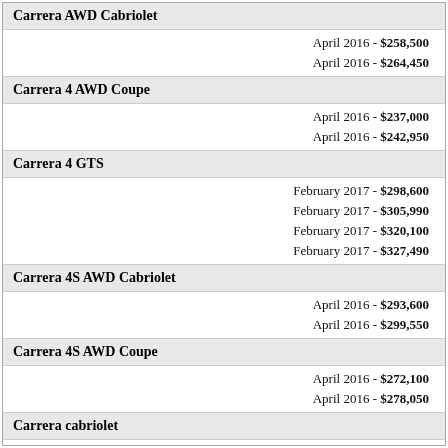Carrera AWD Cabriolet
April 2016 - $258,500
April 2016 - $264,450
Carrera 4 AWD Coupe
April 2016 - $237,000
April 2016 - $242,950
Carrera 4 GTS
February 2017 - $298,600
February 2017 - $305,990
February 2017 - $320,100
February 2017 - $327,490
Carrera 4S AWD Cabriolet
April 2016 - $293,600
April 2016 - $299,550
Carrera 4S AWD Coupe
April 2016 - $272,100
April 2016 - $278,050
Carrera cabriolet
April 2016 - $242,400
April 2016 - $248,350